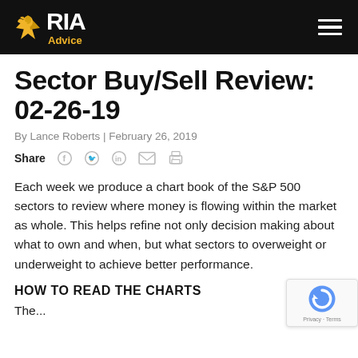RIA Advice
Sector Buy/Sell Review: 02-26-19
By Lance Roberts | February 26, 2019
Share
Each week we produce a chart book of the S&P 500 sectors to review where money is flowing within the market as whole. This helps refine not only decision making about what to own and when, but what sectors to overweight or underweight to achieve better performance.
HOW TO READ THE CHARTS
The...